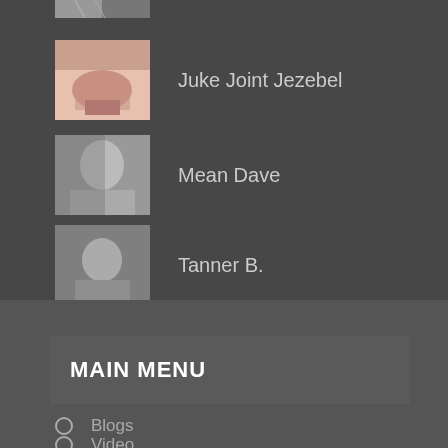[Figure (screenshot): Partial thumbnail image at top of list, cropped]
Juke Joint Jezebel
Mean Dave
Tanner B.
MAIN MENU
Blogs
Video
Podcasts